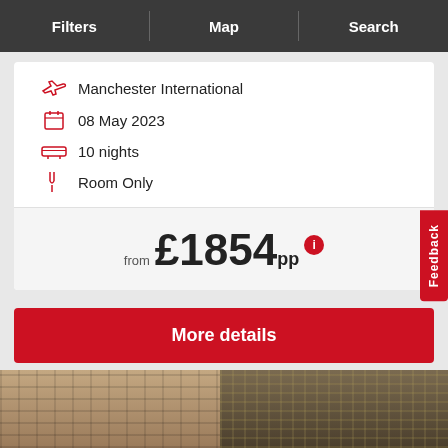Filters | Map | Search
Manchester International
08 May 2023
10 nights
Room Only
from £1854pp
More details
[Figure (photo): Two building facades side by side – a beige concrete office block on the left and a glass-curtain tower on the right]